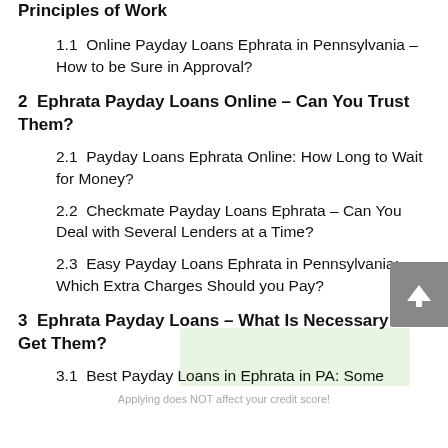Principles of Work
1.1  Online Payday Loans Ephrata in Pennsylvania – How to be Sure in Approval?
2  Ephrata Payday Loans Online – Can You Trust Them?
2.1  Payday Loans Ephrata Online: How Long to Wait for Money?
2.2  Checkmate Payday Loans Ephrata – Can You Deal with Several Lenders at a Time?
2.3  Easy Payday Loans Ephrata in Pennsylvania: Which Extra Charges Should you Pay?
3  Ephrata Payday Loans – What Is Necessary to Get Them?
Applying does NOT affect your credit score!
3.1  Best Payday Loans in Ephrata in PA: Some